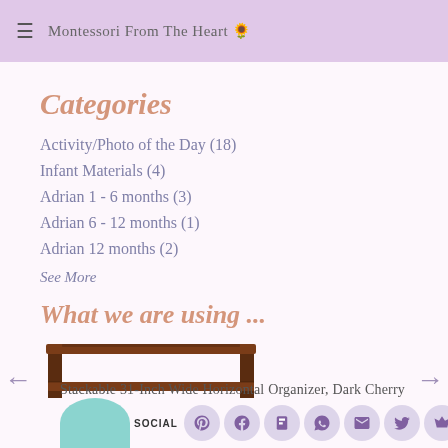≡  Montessori From The Heart 🌸
Categories
Activity/Photo of the Day (18)
Infant Materials (4)
Adrian 1 - 6 months (3)
Adrian 6 - 12 months (1)
Adrian 12 months (2)
See More
What we are using ...
[Figure (photo): Stackable 31-Inch Wide Horizontal Organizer in Dark Cherry finish, a low wooden shelf/bench with two shelves]
Stackable 31-Inch Wide Horizontal Organizer, Dark Cherry